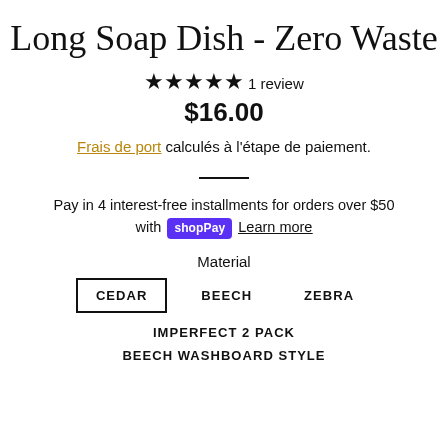Long Soap Dish - Zero Waste
★★★★★ 1 review
$16.00
Frais de port calculés à l'étape de paiement.
Pay in 4 interest-free installments for orders over $50 with shopPay Learn more
Material
CEDAR  BEECH  ZEBRA
IMPERFECT 2 PACK
BEECH WASHBOARD STYLE